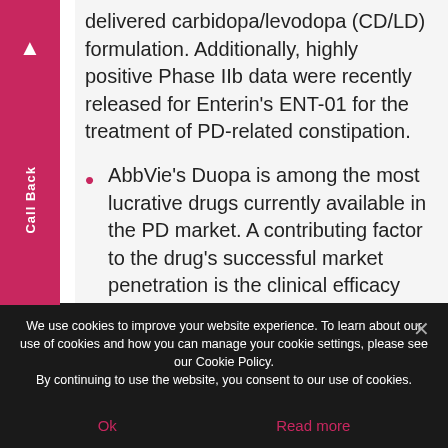delivered carbidopa/levodopa (CD/LD) formulation. Additionally, highly positive Phase IIb data were recently released for Enterin's ENT-01 for the treatment of PD-related constipation.
AbbVie's Duopa is among the most lucrative drugs currently available in the PD market. A contributing factor to the drug's successful market penetration is the clinical efficacy data achieved in trials, where Duopa treatment significantly reduced “off” periods in PD patients
We use cookies to improve your website experience. To learn about our use of cookies and how you can manage your cookie settings, please see our Cookie Policy.
By continuing to use the website, you consent to our use of cookies.
Ok
Read more